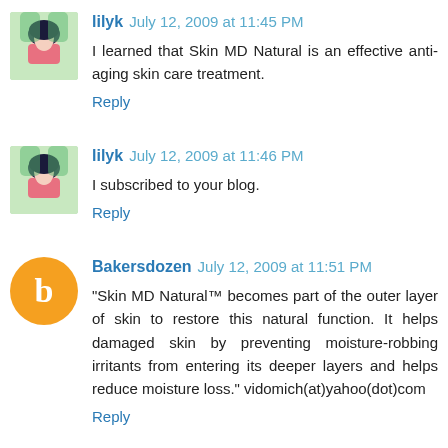lilyk July 12, 2009 at 11:45 PM
I learned that Skin MD Natural is an effective anti-aging skin care treatment.
Reply
lilyk July 12, 2009 at 11:46 PM
I subscribed to your blog.
Reply
Bakersdozen July 12, 2009 at 11:51 PM
"Skin MD Natural™ becomes part of the outer layer of skin to restore this natural function. It helps damaged skin by preventing moisture-robbing irritants from entering its deeper layers and helps reduce moisture loss." vidomich(at)yahoo(dot)com
Reply